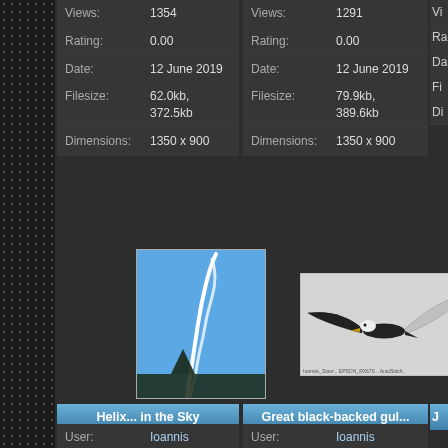Views: 1354
Rating: 0.00
Date: 12 June 2019
Filesize: 62.0kb, 372.5kb
Dimensions: 1350 x 900
Views: 1291
Rating: 0.00
Date: 12 June 2019
Filesize: 79.9kb, 389.6kb
Dimensions: 1350 x 900
[Figure (photo): Photo of a helix-shaped cloud formation in a blue sky]
[Figure (photo): Photo of a great black-backed gull in flight against a gray sky]
Helix... in the Sky
Great black-backed gul...
User: Ioannis
Views: 1182
Rating: 0.00
Date: 23 May 2019
Filesize: 40.8kb, 309.3kb
User: Ioannis
Views: 1417
Rating: 0.00
Date: 23 May 2019
Filesize: 32.1kb, 420.3kb